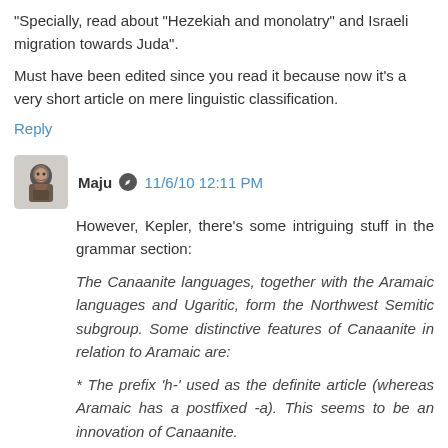"Specially, read about "Hezekiah and monolatry" and Israeli migration towards Juda".
Must have been edited since you read it because now it's a very short article on mere linguistic classification.
Reply
Maju  11/6/10 12:11 PM
However, Kepler, there's some intriguing stuff in the grammar section:
The Canaanite languages, together with the Aramaic languages and Ugaritic, form the Northwest Semitic subgroup. Some distinctive features of Canaanite in relation to Aramaic are:
* The prefix 'h-' used as the definite article (whereas Aramaic has a postfixed -a). This seems to be an innovation of Canaanite.